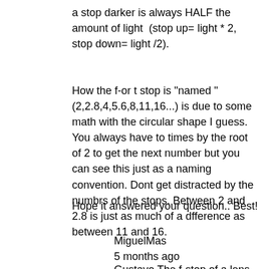a stop darker is always HALF the amount of light  (stop up= light * 2, stop down= light /2).
How the f-or t stop is "named " (2,2.8,4,5.6,8,11,16...) is due to some math with the circular shape I guess. You always have to times by the root of 2 to get the next number but you can see this just as a naming convention. Dont get distracted by the numbrs of the stops. Between 2 and 2.8 is just as much of a dfference as between 11 and 16.
Hope it answered your question.. Best!
MiguelMas
5 months ago
Gustavo The f-stop of a lens is determined